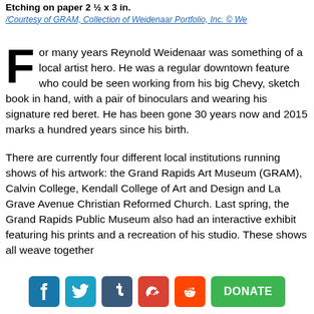Etching on paper 2 ½ x 3 in.
/Courtesy of GRAM, Collection of Weidenaar Portfolio, Inc. © We
For many years Reynold Weidenaar was something of a local artist hero. He was a regular downtown feature who could be seen working from his big Chevy, sketch book in hand, with a pair of binoculars and wearing his signature red beret. He has been gone 30 years now and 2015 marks a hundred years since his birth.
There are currently four different local institutions running shows of his artwork: the Grand Rapids Art Museum (GRAM), Calvin College, Kendall College of Art and Design and La Grave Avenue Christian Reformed Church. Last spring, the Grand Rapids Public Museum also had an interactive exhibit featuring his prints and a recreation of his studio. These shows all weave together
[Figure (infographic): Social media share buttons: Facebook, Twitter, Tumblr, Google+, Reddit, and a green Donate button]